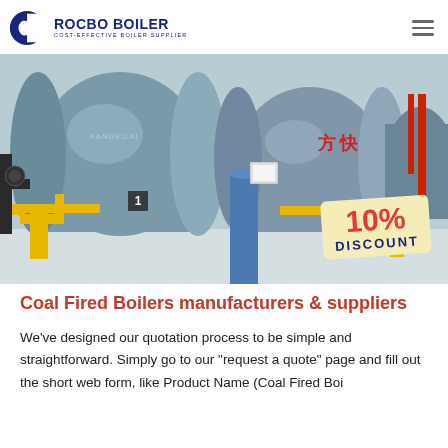[Figure (logo): Rocbo Boiler logo with circular blue icon and company name 'ROCBO BOILER' with tagline 'COST-EFFECTIVE BOILER SUPPLIER']
[Figure (photo): Industrial boiler room with large cylindrical blue-grey boilers, yellow piping, red piping, a '10% DISCOUNT' badge in the bottom right corner]
Coal Fired Boilers manufacturers & suppliers
We've designed our quotation process to be simple and straightforward. Simply go to our "request a quote" page and fill out the short web form, like Product Name (Coal Fired Boi